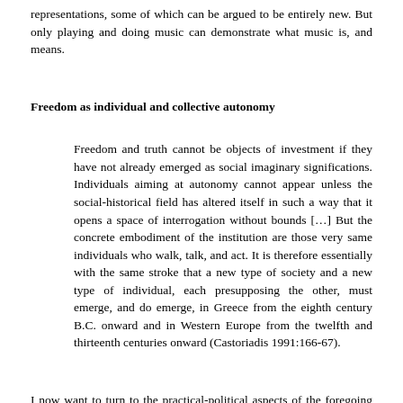representations, some of which can be argued to be entirely new. But only playing and doing music can demonstrate what music is, and means.
Freedom as individual and collective autonomy
Freedom and truth cannot be objects of investment if they have not already emerged as social imaginary significations. Individuals aiming at autonomy cannot appear unless the social-historical field has altered itself in such a way that it opens a space of interrogation without bounds […] But the concrete embodiment of the institution are those very same individuals who walk, talk, and act. It is therefore essentially with the same stroke that a new type of society and a new type of individual, each presupposing the other, must emerge, and do emerge, in Greece from the eighth century B.C. onward and in Western Europe from the twelfth and thirteenth centuries onward (Castoriadis 1991:166-67).
I now want to turn to the practical-political aspects of the foregoing discussion, and hopefully clarify what the psychoanalytical detour above can tell us about collective and individual freedom. A point often stressed by Castoriadis is that “history” should not be seen as mere development according to reason, social progress, etc. History is first and foremost creation – a multiplicity of social-historical associations that create, recreate and elaborate upon their own conditions. Society thus consists of two instances: that which creates itself – the instituting society – and that which is created – the instituted society.